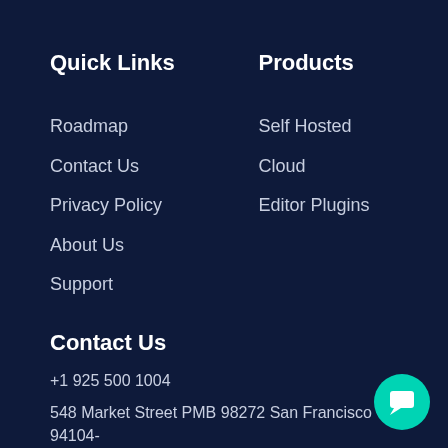Quick Links
Products
Roadmap
Self Hosted
Contact Us
Cloud
Privacy Policy
Editor Plugins
About Us
Support
Contact Us
+1 925 500 1004
548 Market Street PMB 98272 San Francisco CA 94104-